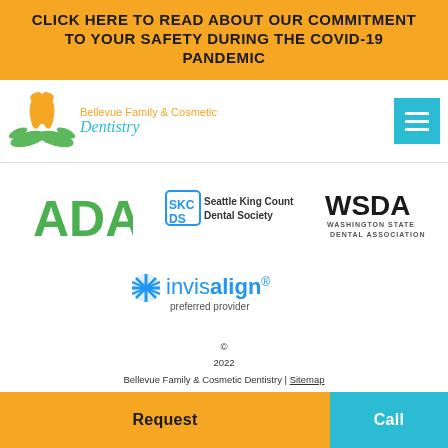CLICK HERE TO READ ABOUT OUR COMMITMENT TO YOUR SAFETY DURING THE COVID-19 PANDEMIC
[Figure (logo): Bellevue Family & Cosmetic Dentistry logo with tooth and hands icon]
[Figure (logo): ADA logo in green]
[Figure (logo): SKC DS Seattle King County Dental Society logo]
[Figure (logo): WSDA Washington State Dental Association logo]
[Figure (logo): invisalign preferred provider logo]
© 2022 Bellevue Family & Cosmetic Dentistry | Sitemap Site designed and maintained by TNT Dental | Terms of Use & Privacy Policy | HIPAA and Privacy Practices
Request | Call | Map